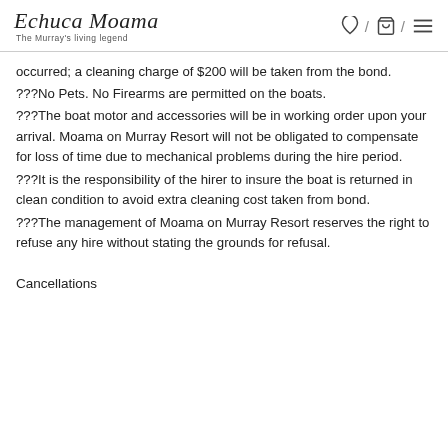Echuca Moama – The Murray's living legend
occurred; a cleaning charge of $200 will be taken from the bond.
???No Pets. No Firearms are permitted on the boats.
???The boat motor and accessories will be in working order upon your arrival. Moama on Murray Resort will not be obligated to compensate for loss of time due to mechanical problems during the hire period.
???It is the responsibility of the hirer to insure the boat is returned in clean condition to avoid extra cleaning cost taken from bond.
???The management of Moama on Murray Resort reserves the right to refuse any hire without stating the grounds for refusal.
Cancellations